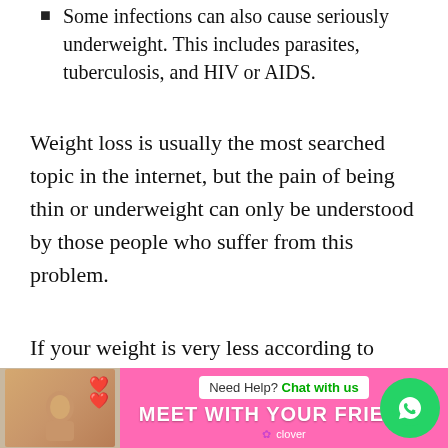Some infections can also cause seriously underweight. This includes parasites, tuberculosis, and HIV or AIDS.
Weight loss is usually the most searched topic in the internet, but the pain of being thin or underweight can only be understood by those people who suffer from this problem.
If your weight is very less according to your age and height and you want to gain weight fast or increase your weight, then definitely read this article. Here
[Figure (infographic): Advertisement banner at the bottom. Shows a woman with a headset on the left, a pink banner with 'MEET WITH YOUR FRIENDS' text, 'Need Help? Chat with us' prompt, Clover branding, and a WhatsApp chat button (green circle with phone icon) on the right.]